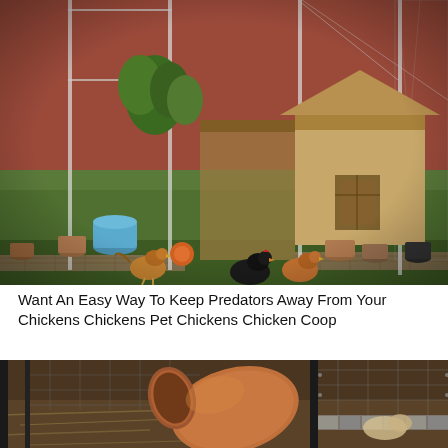[Figure (photo): Backyard chicken coop scene with chickens roaming on green grass, wooden pallet decking, wire mesh enclosure with metal frame, potted plants along the perimeter, and a wooden chicken house/coop structure. Red wall visible in background.]
Want An Easy Way To Keep Predators Away From Your Chickens Chickens Pet Chickens Chicken Coop
[Figure (photo): Close-up of a chicken coop or run area showing a large terracotta pot on its side, wire mesh fencing, dark metal fence posts, and a chicken visible in the background on dirt/hay ground.]